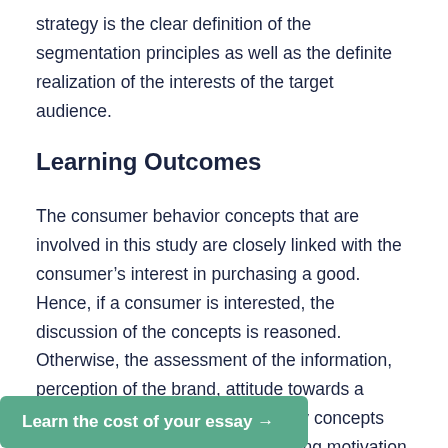strategy is the clear definition of the segmentation principles as well as the definite realization of the interests of the target audience.
Learning Outcomes
The consumer behavior concepts that are involved in this study are closely linked with the consumer's interest in purchasing a good. Hence, if a consumer is interested, the discussion of the concepts is reasoned. Otherwise, the assessment of the information, perception of the brand, attitude towards a brand will be meaningless. The key concepts explain the importance of purchasing motivation, as the most important factor of the consumer behavior concept is the reason why a person becomes a consumer. Consequently, the main emphasis should be
Learn the cost of your essay →